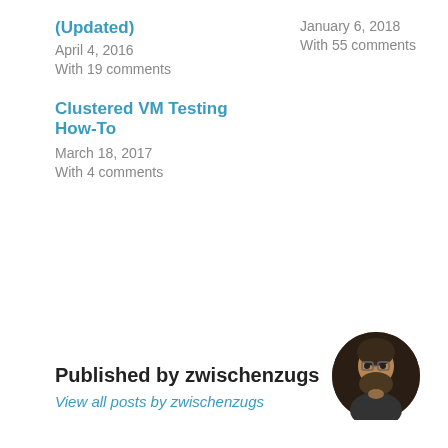(Updated)
April 4, 2016
With 19 comments
January 6, 2018
With 55 comments
Clustered VM Testing How-To
March 18, 2017
With 4 comments
Published by zwischenzugs
View all posts by zwischenzugs
[Figure (photo): Circular avatar photo of a bearded man with glasses, thinking pose]